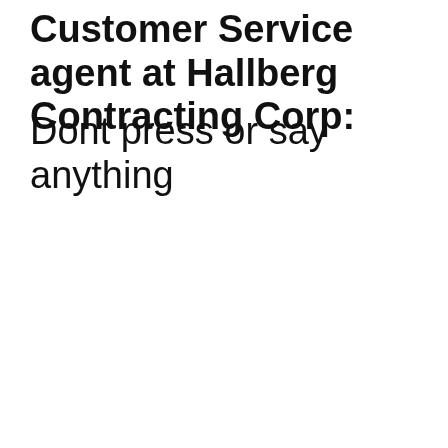Customer Service agent at Hallberg Contracting Corp:
Dont press or say anything